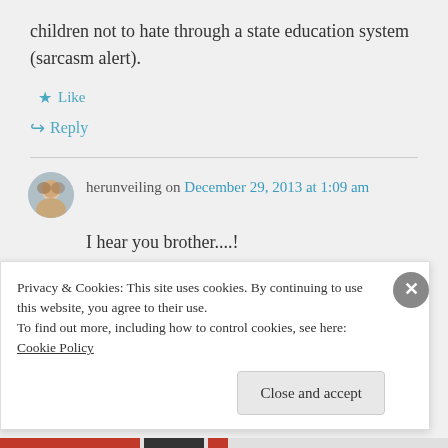children not to hate through a state education system (sarcasm alert).
★ Like
↪ Reply
herunveiling on December 29, 2013 at 1:09 am
I hear you brother....!
Privacy & Cookies: This site uses cookies. By continuing to use this website, you agree to their use.
To find out more, including how to control cookies, see here: Cookie Policy